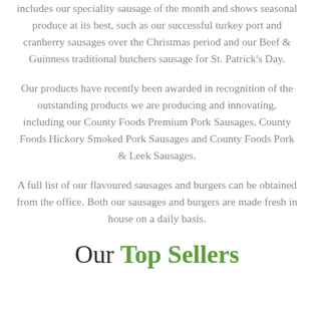includes our speciality sausage of the month and shows seasonal produce at its best, such as our successful turkey port and cranberry sausages over the Christmas period and our Beef & Guinness traditional butchers sausage for St. Patrick's Day.
Our products have recently been awarded in recognition of the outstanding products we are producing and innovating, including our County Foods Premium Pork Sausages, County Foods Hickory Smoked Pork Sausages and County Foods Pork & Leek Sausages.
A full list of our flavoured sausages and burgers can be obtained from the office. Both our sausages and burgers are made fresh in house on a daily basis.
Our Top Sellers